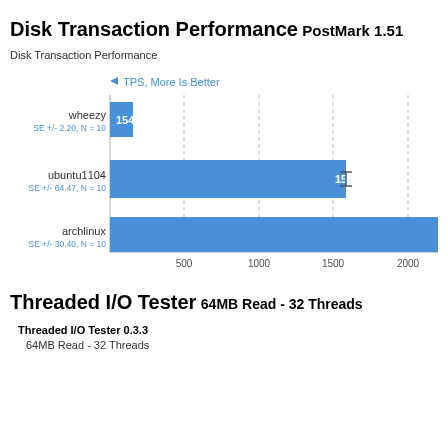Disk Transaction Performance
PostMark 1.51
Disk Transaction Performance
[Figure (bar-chart): TPS, More Is Better]
Threaded I/O Tester
64MB Read - 32 Threads
Threaded I/O Tester 0.3.3
64MB Read - 32 Threads